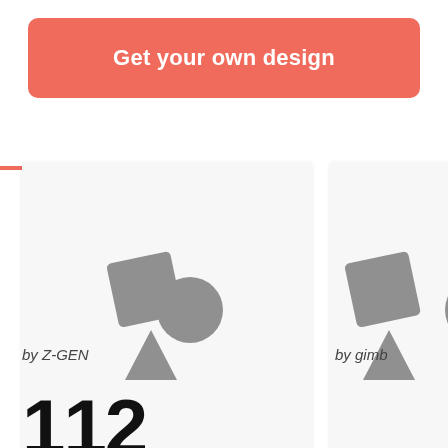Get your own design
[Figure (illustration): Design template placeholder card on the left showing grey geometric shapes: a rotated square, a circle, and a triangle on a light grey background — attributed to Z-GEN]
by Z-GEN
[Figure (illustration): Design template placeholder card on the right (partially cropped) showing similar grey geometric shapes: a rotated square, a circle, and a triangle on a light grey background — attributed to gimb]
by gimb
112